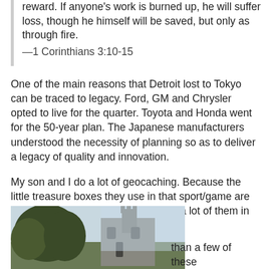reward. If anyone's work is burned up, he will suffer loss, though he himself will be saved, but only as through fire. —1 Corinthians 3:10-15
One of the main reasons that Detroit lost to Tokyo can be traced to legacy. Ford, GM and Chrysler opted to live for the quarter. Toyota and Honda went for the 50-year plan. The Japanese manufacturers understood the necessity of planning so as to deliver a legacy of quality and innovation.
My son and I do a lot of geocaching. Because the little treasure boxes they use in that sport/game are best stashed on public land, we find a lot of them in cemeteries. More than a few of these
[Figure (photo): Photograph of a stone church or castle-like building with trees in the foreground, partially overlaid with a light blue/grey sky image]